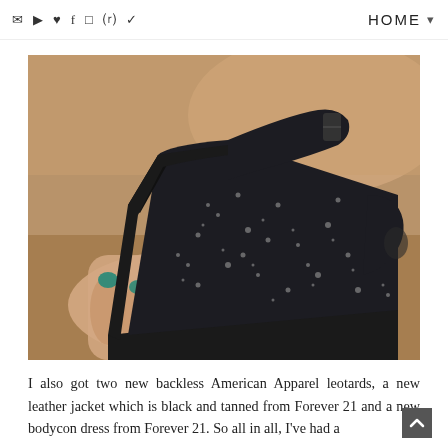✉ ▶ ♥ f ☐ ⊕ ✓   HOME
[Figure (photo): Close-up photo of a black sequined wedge heel shoe being held by a hand with teal nail polish, against a blurred warm-toned background.]
I also got two new backless American Apparel leotards, a new leather jacket which is black and tanned from Forever 21 and a new bodycon dress from Forever 21. So all in all, I've had a